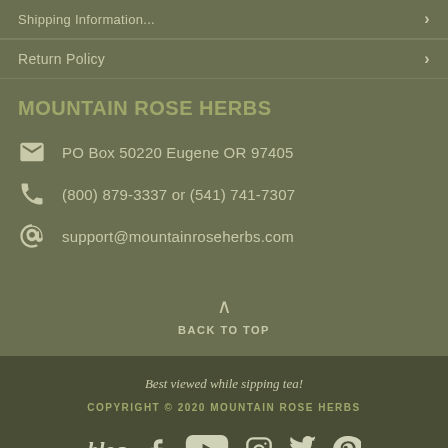Shipping Information
Return Policy
MOUNTAIN ROSE HERBS
PO Box 50220 Eugene OR 97405
(800) 879-3337 or (541) 741-7307
support@mountainroseherbs.com
BACK TO TOP
Best viewed while sipping tea!
COPYRIGHT © 2020 MOUNTAIN ROSE HERBS